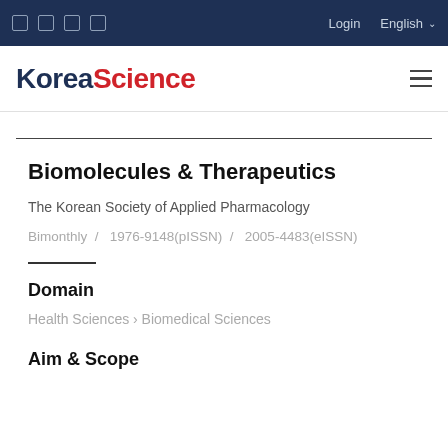KoreaScience | Login | English
Biomolecules & Therapeutics
The Korean Society of Applied Pharmacology
Bimonthly  /  1976-9148(pISSN)  /  2005-4483(eISSN)
Domain
Health Sciences › Biomedical Sciences
Aim & Scope